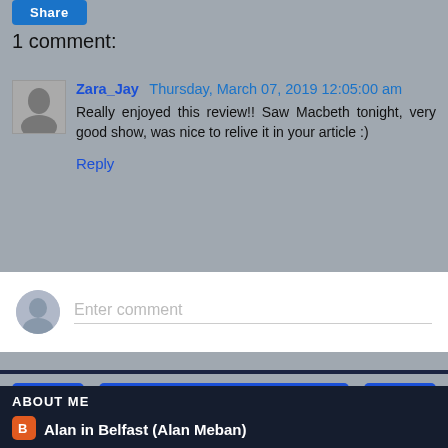Share
1 comment:
Zara_Jay Thursday, March 07, 2019 12:05:00 am
Really enjoyed this review!! Saw Macbeth tonight, very good show, was nice to relive it in your article :)
Reply
Enter comment
Home
View web version
ABOUT ME
Alan in Belfast (Alan Meban)